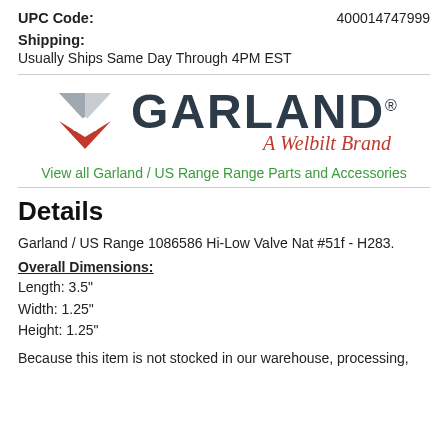UPC Code: 400014747999
Shipping: Usually Ships Same Day Through 4PM EST
[Figure (logo): Garland - A Welbilt Brand logo with stylized W icon in grey and red]
View all Garland / US Range Range Parts and Accessories
Details
Garland / US Range 1086586 Hi-Low Valve Nat #51f - H283.
Overall Dimensions:
Length: 3.5"
Width: 1.25"
Height: 1.25"
Because this item is not stocked in our warehouse, processing,